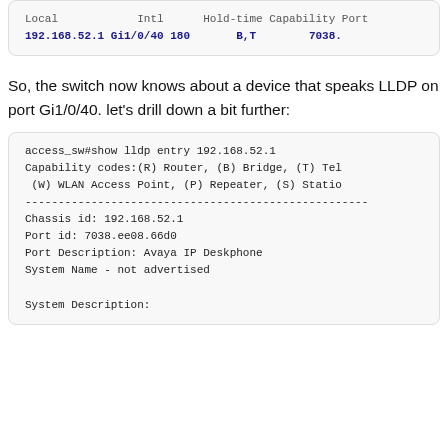| Local | Intl | Hold-time | Capability | Port |
| --- | --- | --- | --- | --- |
| 192.168.52.1 | Gi1/0/40 | 180 | B,T | 7038. |
So, the switch now knows about a device that speaks LLDP on port Gi1/0/40. let's drill down a bit further:
access_sw#show lldp entry 192.168.52.1
Capability codes:(R) Router, (B) Bridge, (T) Tel
 (W) WLAN Access Point, (P) Repeater, (S) Statio
----------------------------------------------------
Chassis id: 192.168.52.1
Port id: 7038.ee08.66d0
Port Description: Avaya IP Deskphone
System Name - not advertised

System Description: